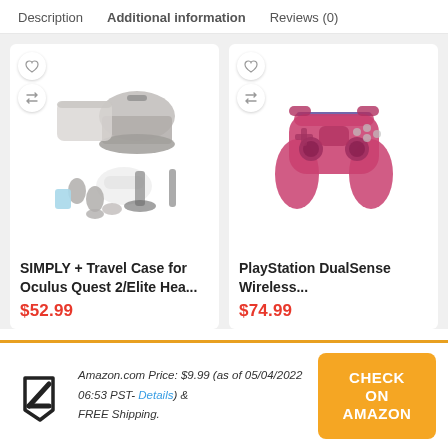Description   Additional information   Reviews (0)
[Figure (photo): Product card: SIMPLY + Travel Case for Oculus Quest 2/Elite Hea... with travel case and accessories image, wishlist and compare buttons, price $52.99]
[Figure (photo): Product card: PlayStation DualSense Wireless... with pink/red PS5 controller image, wishlist and compare buttons, price $74.99]
Amazon.com Price: $9.99 (as of 05/04/2022 06:53 PST- Details) & FREE Shipping.
CHECK ON AMAZON